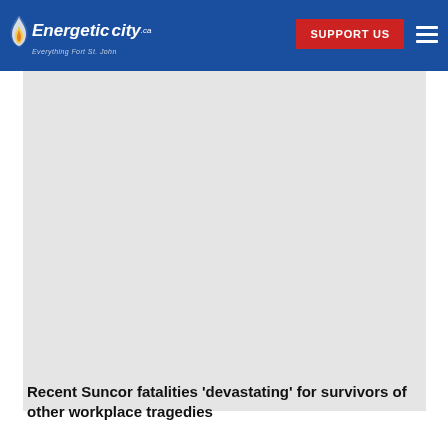Energetic city.ca — Everything Fort St. John | SUPPORT US
[Figure (photo): Large grey placeholder image area occupying most of the content region below the header]
Recent Suncor fatalities 'devastating' for survivors of other workplace tragedies